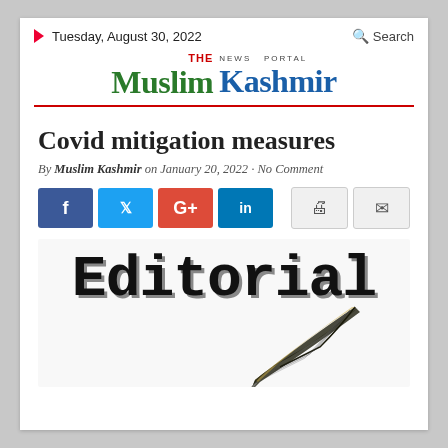Tuesday, August 30, 2022  Search
THE Muslim Kashmir NEWS PORTAL
Covid mitigation measures
By Muslim Kashmir on January 20, 2022 · No Comment
[Figure (other): Social media sharing buttons: Facebook (f), Twitter (bird), Google+ (G+), LinkedIn (in), and utility buttons for print and email]
[Figure (illustration): Editorial graphic showing the word 'Editorial' in large bold serif typewriter font with a feather quill pen in the lower right]